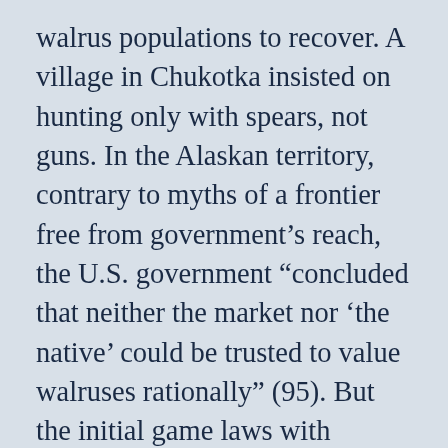walrus populations to recover. A village in Chukotka insisted on hunting only with spears, not guns. In the Alaskan territory, contrary to myths of a frontier free from government’s reach, the U.S. government “concluded that neither the market nor ‘the native’ could be trusted to value walruses rationally” (95). But the initial game laws with